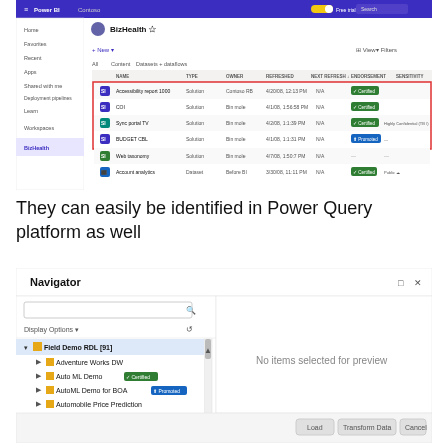[Figure (screenshot): Power BI workspace screenshot showing BizHealth workspace with a list of datasets/reports including rows highlighted in red box: rows with Certified and Promoted badges, columns for Name, Type, Owner, Refreshed, Endorsement, Sensitivity]
They can easily be identified in Power Query platform as well
[Figure (screenshot): Power Query Navigator dialog showing a file tree with Field Demo RDL [91] containing Adventure Works DW, Auto ML Demo (Certified badge), AutoML Demo for BOA (Promoted badge), Automobile Price Prediction, Books. Right panel shows 'No items selected for preview'. Bottom buttons: Load, Transform Data, Cancel.]